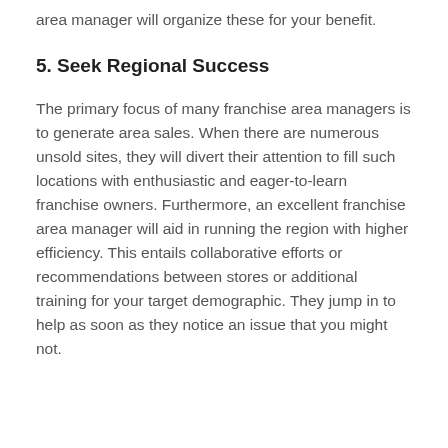area manager will organize these for your benefit.
5. Seek Regional Success
The primary focus of many franchise area managers is to generate area sales. When there are numerous unsold sites, they will divert their attention to fill such locations with enthusiastic and eager-to-learn franchise owners. Furthermore, an excellent franchise area manager will aid in running the region with higher efficiency. This entails collaborative efforts or recommendations between stores or additional training for your target demographic. They jump in to help as soon as they notice an issue that you might not.